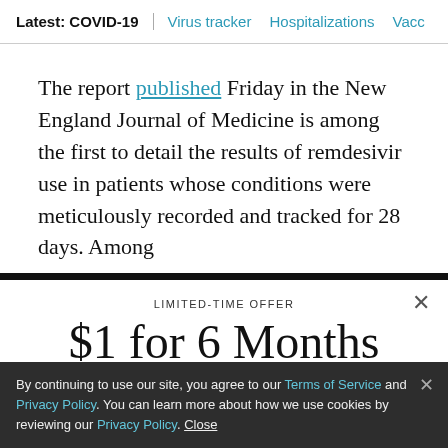Latest: COVID-19 | Virus tracker | Hospitalizations | Vacc
The report published Friday in the New England Journal of Medicine is among the first to detail the results of remdesivir use in patients whose conditions were meticulously recorded and tracked for 28 days. Among
LIMITED-TIME OFFER
$1 for 6 Months
SUBSCRIBE NOW
By continuing to use our site, you agree to our Terms of Service and Privacy Policy. You can learn more about how we use cookies by reviewing our Privacy Policy. Close